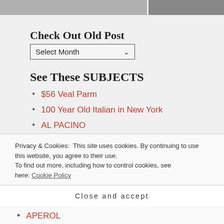[Figure (photo): Partial view of a photo strip at the top of the page showing two photos side by side]
Check Out Old Post
Select Month
See These SUBJECTS
$56 Veal Parm
100 Year Old Italian in New York
AL PACINO
Alec Baldwin Favorite Pizza
Privacy & Cookies: This site uses cookies. By continuing to use this website, you agree to their use.
To find out more, including how to control cookies, see here: Cookie Policy
Close and accept
APEROL